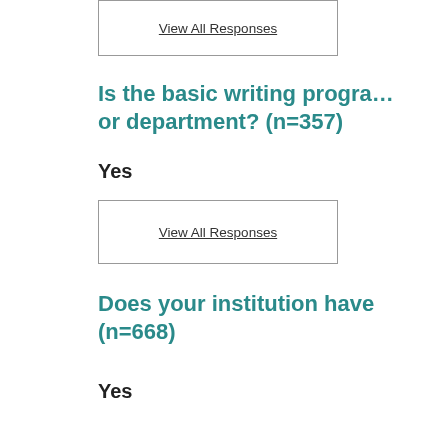View All Responses
Is the basic writing program part of a division or department? (n=357)
Yes
View All Responses
Does your institution have (n=668)
Yes